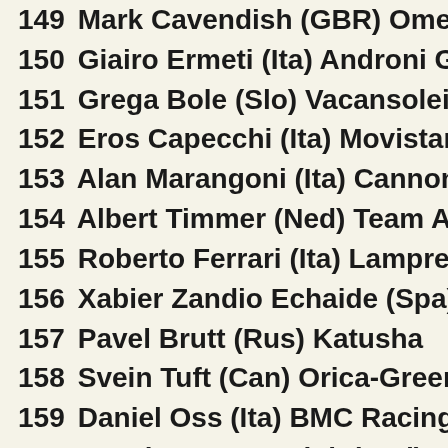149 Mark Cavendish (GBR) Omega Pharma
150 Giairo Ermeti (Ita) Androni Giocattoli
151 Grega Bole (Slo) Vacansoleil-DCM Pro
152 Eros Capecchi (Ita) Movistar Team
153 Alan Marangoni (Ita) Cannondale Pro
154 Albert Timmer (Ned) Team Argos-Shin
155 Roberto Ferrari (Ita) Lampre-Merida
156 Xabier Zandio Echaide (Spa) Sky Procy
157 Pavel Brutt (Rus) Katusha
158 Svein Tuft (Can) Orica-GreenEdge
159 Daniel Oss (Ita) BMC Racing Team
160 Maurits Lammertink (Ned) Vacansolei
161 Johan Le Bon (Fra) FDJ
162 Ioannis Tamouridis (Gre) Euskaltel-Eus